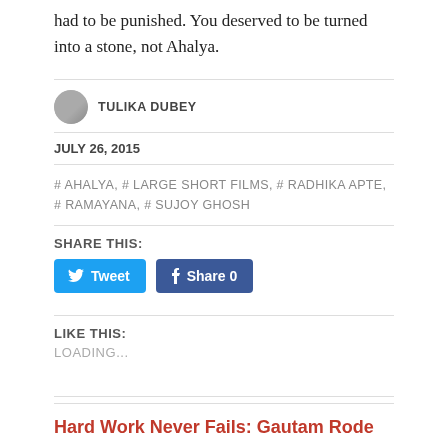had to be punished. You deserved to be turned into a stone, not Ahalya.
TULIKA DUBEY
JULY 26, 2015
# AHALYA, # LARGE SHORT FILMS, # RADHIKA APTE, # RAMAYANA, # SUJOY GHOSH
SHARE THIS:
Tweet
Share 0
LIKE THIS:
LOADING...
Hard Work Never Fails: Gautam Rode